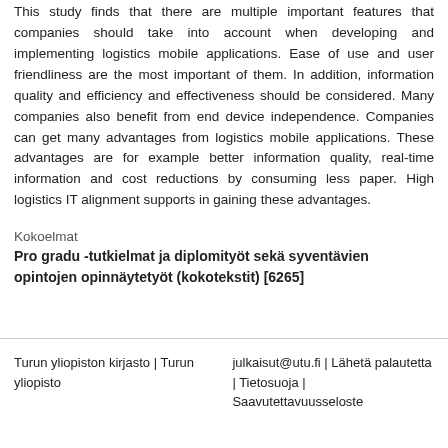This study finds that there are multiple important features that companies should take into account when developing and implementing logistics mobile applications. Ease of use and user friendliness are the most important of them. In addition, information quality and efficiency and effectiveness should be considered. Many companies also benefit from end device independence. Companies can get many advantages from logistics mobile applications. These advantages are for example better information quality, real-time information and cost reductions by consuming less paper. High logistics IT alignment supports in gaining these advantages.
Kokoelmat
Pro gradu -tutkielmat ja diplomityöt sekä syventävien opintojen opinnäytetyöt (kokotekstit) [6265]
Turun yliopiston kirjasto | Turun yliopisto   julkaisut@utu.fi | Lähetä palautetta | Tietosuoja | Saavutettavuusseloste